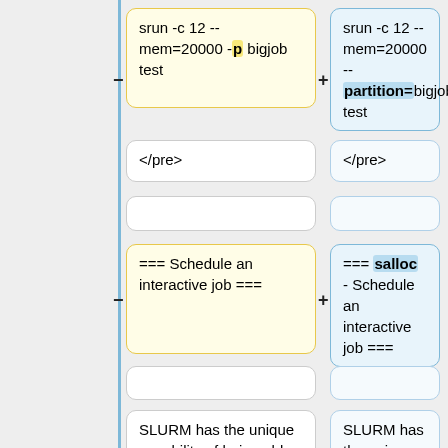[Figure (screenshot): Diff view showing two columns of wiki/documentation text blocks. Left column shows old version with yellow highlight on '-p' flag. Right column shows new version with blue highlight on '--partition=' flag. Bottom rows show 'Schedule an interactive job' section headings and SLURM description text.]